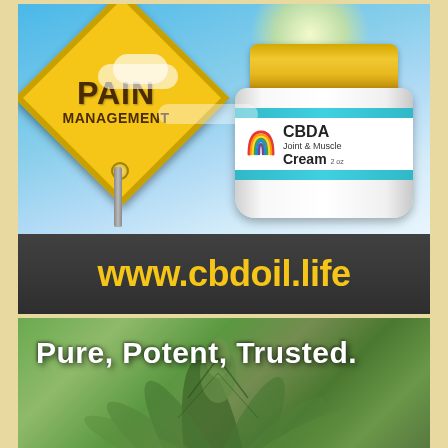[Figure (illustration): Advertisement image showing a yellow diamond-shaped road sign reading 'PAIN MANAGEMENT' against a blue sky, alongside a white and gold jar of 'CBDA Joint & Muscle Cream 2 oz' with a rainbow logo]
www.cbdoil.life
Pure, Potent, Trusted.